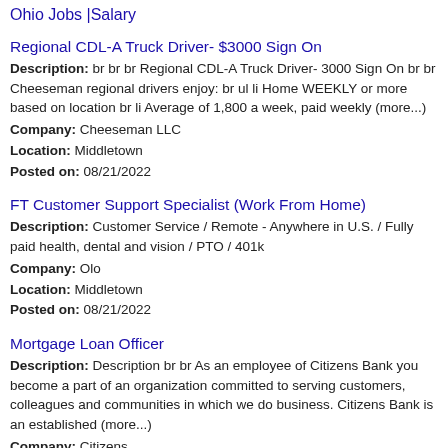Ohio Jobs |Salary
Regional CDL-A Truck Driver- $3000 Sign On
Description: br br br Regional CDL-A Truck Driver- 3000 Sign On br br Cheeseman regional drivers enjoy: br ul li Home WEEKLY or more based on location br li Average of 1,800 a week, paid weekly (more...)
Company: Cheeseman LLC
Location: Middletown
Posted on: 08/21/2022
FT Customer Support Specialist (Work From Home)
Description: Customer Service / Remote - Anywhere in U.S. / Fully paid health, dental and vision / PTO / 401k
Company: Olo
Location: Middletown
Posted on: 08/21/2022
Mortgage Loan Officer
Description: Description br br As an employee of Citizens Bank you become a part of an organization committed to serving customers, colleagues and communities in which we do business. Citizens Bank is an established (more...)
Company: Citizens